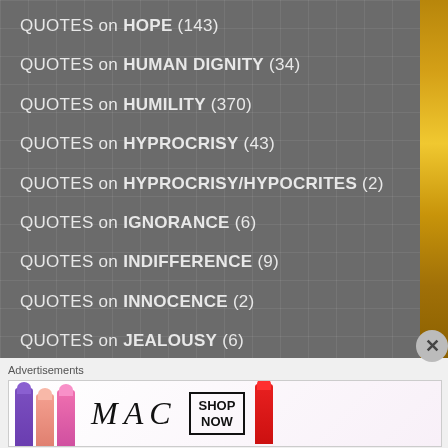QUOTES on HOPE (143)
QUOTES on HUMAN DIGNITY (34)
QUOTES on HUMILITY (370)
QUOTES on HYPROCRISY (43)
QUOTES on HYPROCRISY/HYPOCRITES (2)
QUOTES on IGNORANCE (6)
QUOTES on INDIFFERENCE (9)
QUOTES on INNOCENCE (2)
QUOTES on JEALOUSY (6)
QUOTES on JOY (109)
QUOTES on JUDGING (11)
Advertisements
[Figure (illustration): Advertisement banner for MAC cosmetics showing colorful lipsticks and SHOP NOW text]